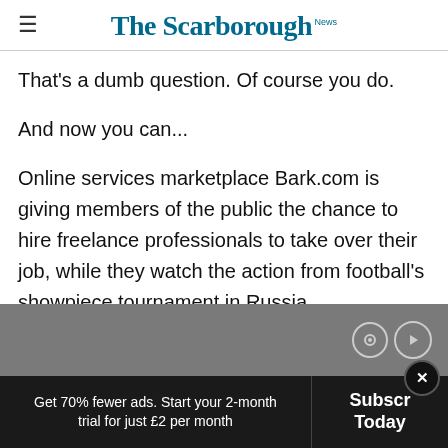The Scarborough News
That's a dumb question. Of course you do.
And now you can...
Online services marketplace Bark.com is giving members of the public the chance to hire freelance professionals to take over their job, while they watch the action from football's showpiece tournament in Russia.
[Figure (screenshot): Grey advertisement banner area with circular media control icons on the right side]
Get 70% fewer ads. Start your 2-month trial for just £2 per month
Subscr Today